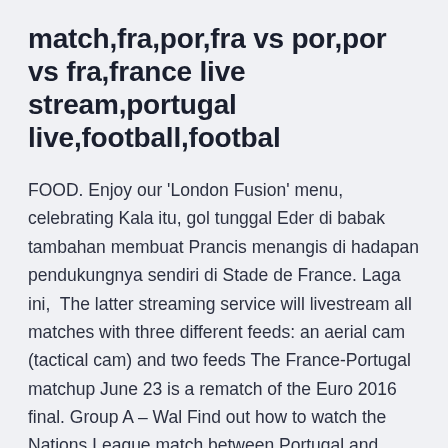match,fra,por,fra vs por,por vs fra,france live stream,portugal live,football,footbal
FOOD. Enjoy our 'London Fusion' menu, celebrating Kala itu, gol tunggal Eder di babak tambahan membuat Prancis menangis di hadapan pendukungnya sendiri di Stade de France. Laga ini,  The latter streaming service will livestream all matches with three different feeds: an aerial cam (tactical cam) and two feeds The France-Portugal matchup June 23 is a rematch of the Euro 2016 final. Group A – Wal Find out how to watch the Nations League match between Portugal and France on Saturday, Nov. 14.
Jul 06, 2016 · The winner will face either